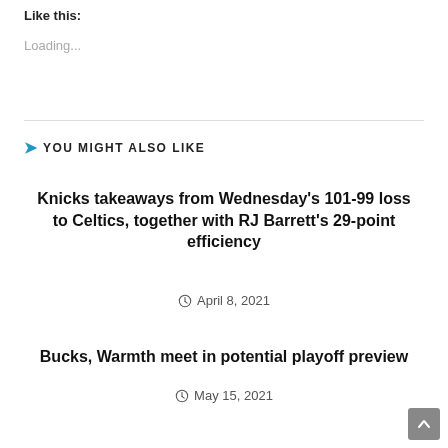Like this:
Loading...
YOU MIGHT ALSO LIKE
Knicks takeaways from Wednesday's 101-99 loss to Celtics, together with RJ Barrett's 29-point efficiency
April 8, 2021
Bucks, Warmth meet in potential playoff preview
May 15, 2021